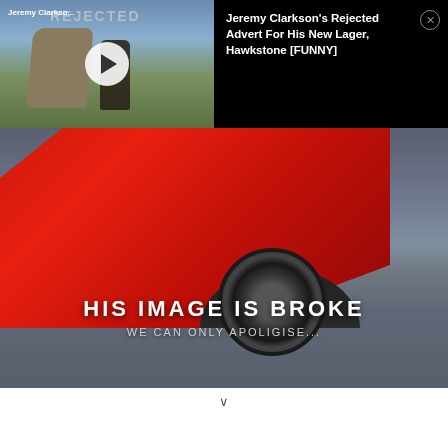[Figure (screenshot): Video thumbnail showing two people near standing stones with 'REJECTED' text overlay and a play button circle. Channel label 'Jeremy Clarkso...' in top-left.]
Jeremy Clarkson's Rejected Advert For His New Lager, Hawkstone [FUNNY]
[Figure (photo): Large partially-broken image showing a red Ferrari-style sports car photographed low from the side/front on a road. Overlaid text reads 'HIS IMAGE IS BROKE' and below 'WE CAN ONLY APOLIGISE...' indicating a broken image placeholder with partial background visible.]